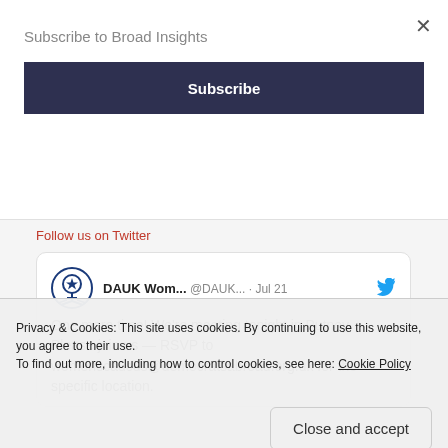Subscribe to Broad Insights
Subscribe
Follow us on Twitter
[Figure (screenshot): Tweet from DAUK Wom... @DAUK... · Jul 21: One more time! We're meeting tonight in Putney. Please join us — RSVP to womenscaucus@democratsabroad.org.uk for the specific location.]
Privacy & Cookies: This site uses cookies. By continuing to use this website, you agree to their use.
To find out more, including how to control cookies, see here: Cookie Policy
Close and accept